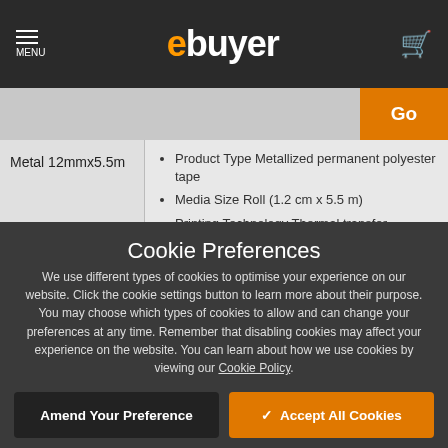ebuyer — MENU / search bar / Go
Product Type Metallized permanent polyester tape
Media Size Roll (1.2 cm x 5.5 m)
Printing Technology Thermal transfer
Cookie Preferences
We use different types of cookies to optimise your experience on our website. Click the cookie settings button to learn more about their purpose. You may choose which types of cookies to allow and can change your preferences at any time. Remember that disabling cookies may affect your experience on the website. You can learn about how we use cookies by viewing our Cookie Policy.
Amend Your Preference
Accept All Cookies